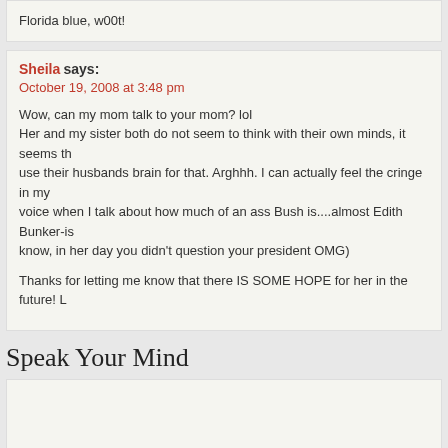Florida blue, w00t!
Sheila says:
October 19, 2008 at 3:48 pm
Wow, can my mom talk to your mom? lol
Her and my sister both do not seem to think with their own minds, it seems th use their husbands brain for that. Arghhh. I can actually feel the cringe in my voice when I talk about how much of an ass Bush is....almost Edith Bunker-is know, in her day you didn't question your president OMG)

Thanks for letting me know that there IS SOME HOPE for her in the future! L
Speak Your Mind